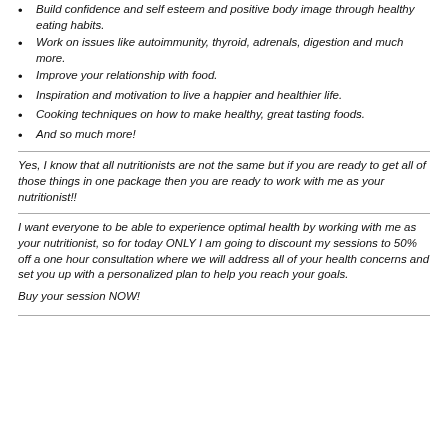Build confidence and self esteem and positive body image through healthy eating habits.
Work on issues like autoimmunity, thyroid, adrenals, digestion and much more.
Improve your relationship with food.
Inspiration and motivation to live a happier and healthier life.
Cooking techniques on how to make healthy, great tasting foods.
And so much more!
Yes, I know that all nutritionists are not the same but if you are ready to get all of those things in one package then you are ready to work with me as your nutritionist!!
I want everyone to be able to experience optimal health by working with me as your nutritionist, so for today ONLY I am going to discount my sessions to 50% off a one hour consultation where we will address all of your health concerns and set you up with a personalized plan to help you reach your goals.
Buy your session NOW!